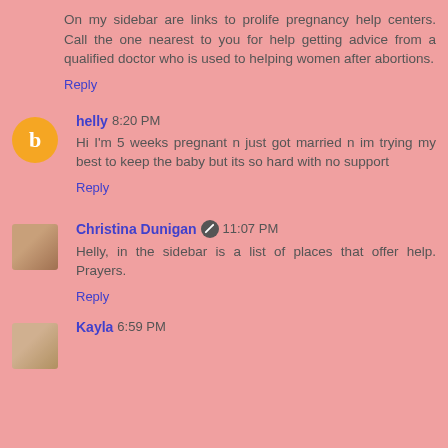On my sidebar are links to prolife pregnancy help centers. Call the one nearest to you for help getting advice from a qualified doctor who is used to helping women after abortions.
Reply
helly 8:20 PM
Hi I'm 5 weeks pregnant n just got married n im trying my best to keep the baby but its so hard with no support
Reply
Christina Dunigan 11:07 PM
Helly, in the sidebar is a list of places that offer help. Prayers.
Reply
Kayla 6:59 PM